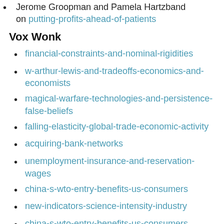Jerome Groopman and Pamela Hartzband on putting-profits-ahead-of-patients
Vox Wonk
financial-constraints-and-nominal-rigidities
w-arthur-lewis-and-tradeoffs-economics-and-economists
magical-warfare-technologies-and-persistence-false-beliefs
falling-elasticity-global-trade-economic-activity
acquiring-bank-networks
unemployment-insurance-and-reservation-wages
china-s-wto-entry-benefits-us-consumers
new-indicators-science-intensity-industry
china-s-wto-entry-benefits-us-consumers
foreign-direct-investment-and-domestic-firms-production-complexity
monetary-policy-credit-dynamics-and-economic-activity-business-constraints